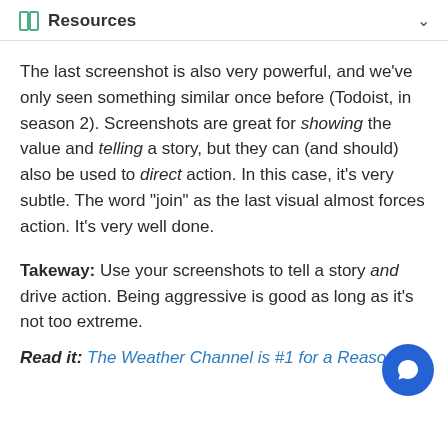Resources
The last screenshot is also very powerful, and we've only seen something similar once before (Todoist, in season 2). Screenshots are great for showing the value and telling a story, but they can (and should) also be used to direct action. In this case, it's very subtle. The word "join" as the last visual almost forces action. It's very well done.
Takeway: Use your screenshots to tell a story and drive action. Being aggressive is good as long as it's not too extreme.
Read it: The Weather Channel is #1 for a Reason!